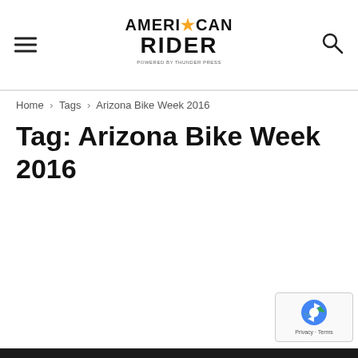AMERICAN RIDER — powered by Thunder Press
Home › Tags › Arizona Bike Week 2016
Tag: Arizona Bike Week 2016